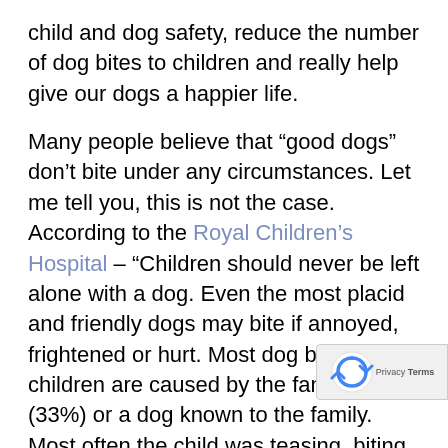child and dog safety, reduce the number of dog bites to children and really help give our dogs a happier life.
Many people believe that “good dogs” don’t bite under any circumstances. Let me tell you, this is not the case. According to the Royal Children’s Hospital – “Children should never be left alone with a dog. Even the most placid and friendly dogs may bite if annoyed, frightened or hurt. Most dog bites to children are caused by the family dog (33%) or a dog known to the family. Most often the child was teasing, biting or grabbing the dog, often when the dog was sleeping or eating.”
So, rather than looking at things in terms …